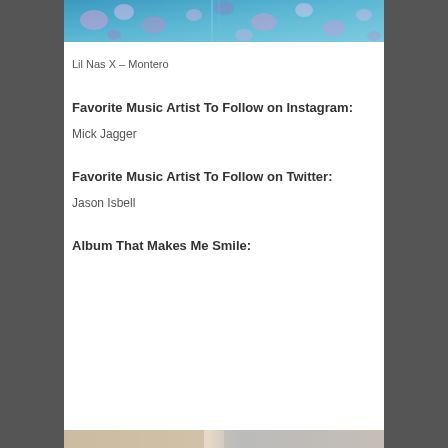[Figure (photo): Partial album art image at the top of the page — colorful blue background with floral/abstract elements]
Lil Nas X – Montero
Favorite Music Artist To Follow on Instagram:
Mick Jagger
Favorite Music Artist To Follow on Twitter:
Jason Isbell
Album That Makes Me Smile:
[Figure (photo): Partial album art image at the bottom of the page — warm tones, partially visible]